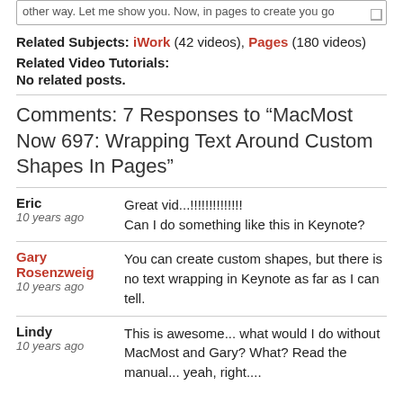other way. Let me show you. Now, in pages to create you go
Related Subjects: iWork (42 videos), Pages (180 videos)
Related Video Tutorials:
No related posts.
Comments: 7 Responses to “MacMost Now 697: Wrapping Text Around Custom Shapes In Pages”
Eric
10 years ago
Great vid...!!!!!!!!!!!!!!
Can I do something like this in Keynote?
Gary Rosenzweig
10 years ago
You can create custom shapes, but there is no text wrapping in Keynote as far as I can tell.
Lindy
10 years ago
This is awesome... what would I do without MacMost and Gary? What? Read the manual... yeah, right....